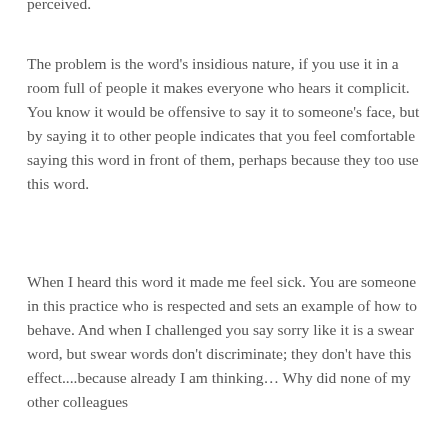perceived.
The problem is the word's insidious nature, if you use it in a room full of people it makes everyone who hears it complicit. You know it would be offensive to say it to someone's face, but by saying it to other people indicates that you feel comfortable saying this word in front of them, perhaps because they too use this word.
When I heard this word it made me feel sick. You are someone in this practice who is respected and sets an example of how to behave. And when I challenged you say sorry like it is a swear word, but swear words don't discriminate; they don't have this effect....because already I am thinking… Why did none of my other colleagues challenge you? And I wonder what...